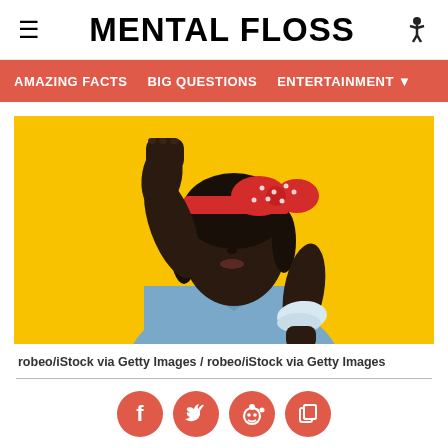MENTAL FLOSS
AMAZING FACTS   BIG QUESTIONS   ENTERTAINMENT
[Figure (photo): Young Black woman in a blue denim shirt and red polka-dot bow headband flexing her arm in a 'Rosie the Riveter' pose against a bright yellow background.]
robeo/iStock via Getty Images / robeo/iStock via Getty Images
[Figure (infographic): Row of four circular social sharing buttons: Facebook (f), Twitter (bird), Reddit (alien), and copy/share icon, all in coral/red color.]